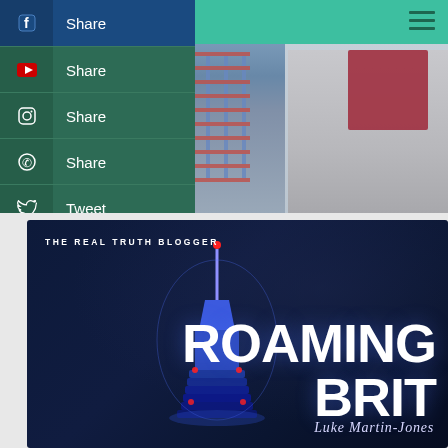[Figure (photo): Screenshot of a travel blog/website showing a photo of two people (torsos visible, wearing casual clothing) at the top, with social media share buttons (Facebook, YouTube, Instagram, WhatsApp, Twitter) overlaid on the left side, and a teal header bar with hamburger menu at the top right.]
Share
Share
Share
Share
Tweet
[Figure (illustration): Book cover for 'Roaming Brit' by Luke Martin-Jones, with dark navy background, an illuminated tower (resembling Blackpool Tower or similar) in blue and red lights, bold white uppercase text 'ROAMING BRIT', subtitle tag 'THE REAL TRUTH BLOGGER', and author name 'Luke Martin-Jones' in italic script.]
THE REAL TRUTH BLOGGER
ROAMING BRIT
Luke Martin-Jones